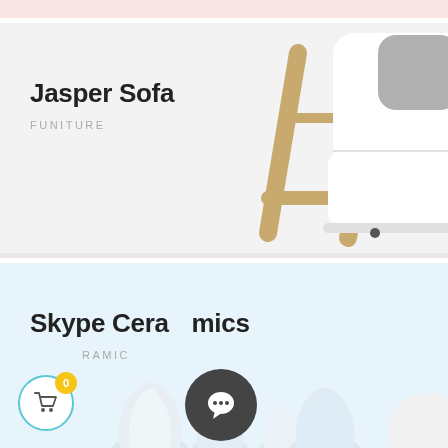[Figure (screenshot): Top pink/rose strip partial view from previous section]
[Figure (photo): Product card for Jasper Sofa with white modern sofa photo on light grey background]
Jasper Sofa
FUNITURE
[Figure (photo): Product card for Skype Ceramics on light blue background with partial ceramic product image at bottom, shopping cart button with badge '0', and chat bubble button]
Skype Ceramics
CERAMIC